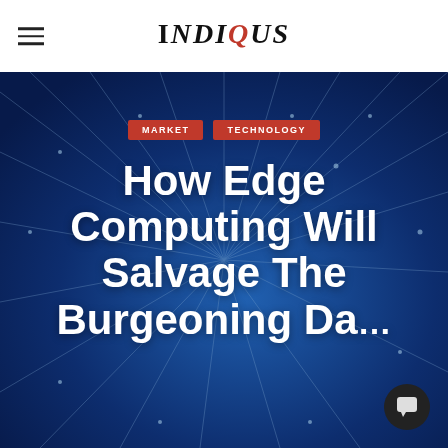IndiQus
MARKET
TECHNOLOGY
How Edge Computing Will Salvage The Burgeoning Da...